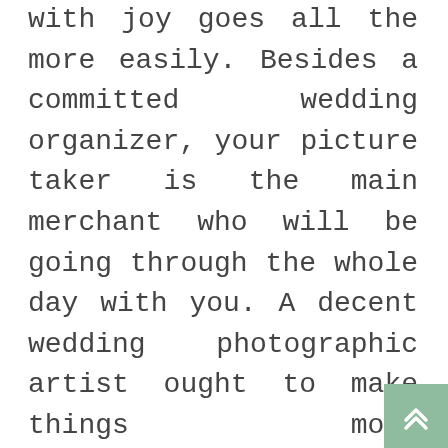with joy goes all the more easily. Besides a committed wedding organizer, your picture taker is the main merchant who will be going through the whole day with you. A decent wedding photographic artist ought to make things more straightforward for you. They ought to tackle issues. Your wedding photographic artist ought to be adaptable. They ought to have the option to adjust and flourish in tough spots. Figure out additional about their capacities and get some information about a troublesome lighting situation, terrible climate, or other fiasco and figure out how they managed it before.